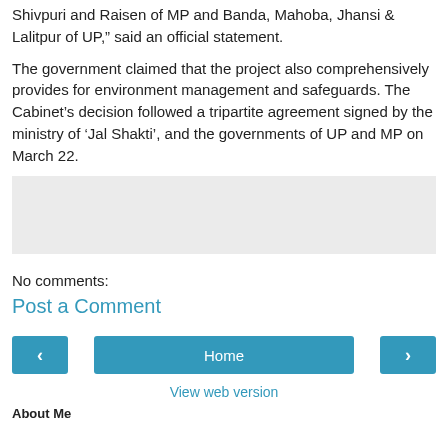Shivpuri and Raisen of MP and Banda, Mahoba, Jhansi & Lalitpur of UP," said an official statement.
The government claimed that the project also comprehensively provides for environment management and safeguards. The Cabinet's decision followed a tripartite agreement signed by the ministry of ‘Jal Shakti’, and the governments of UP and MP on March 22.
[Figure (other): Gray shaded advertisement or empty content box]
No comments:
Post a Comment
Home
View web version
About Me